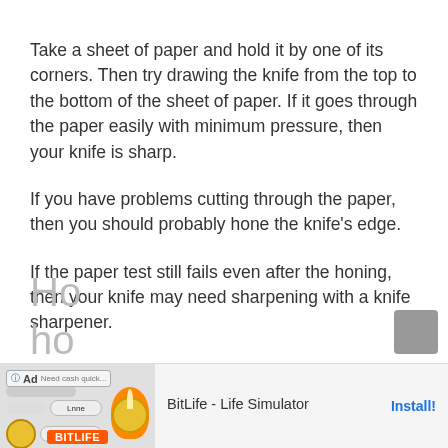Take a sheet of paper and hold it by one of its corners. Then try drawing the knife from the top to the bottom of the sheet of paper. If it goes through the paper easily with minimum pressure, then your knife is sharp.
If you have problems cutting through the paper, then you should probably hone the knife's edge.
If the paper test still fails even after the honing, then your knife may need sharpening with a knife sharpener.
[Figure (screenshot): Advertisement banner for BitLife - Life Simulator app with Ad badge and Install button]